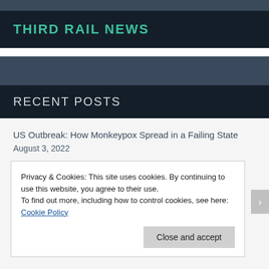THIRD RAIL NEWS
RECENT POSTS
US Outbreak: How Monkeypox Spread in a Failing State
August 3, 2022
Privacy & Cookies: This site uses cookies. By continuing to use this website, you agree to their use.
To find out more, including how to control cookies, see here: Cookie Policy
Close and accept